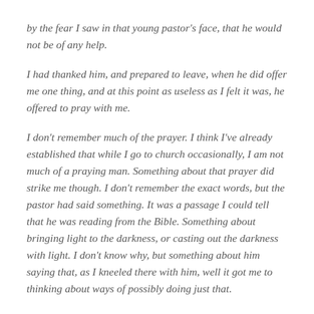by the fear I saw in that young pastor's face, that he would not be of any help.
I had thanked him, and prepared to leave, when he did offer me one thing, and at this point as useless as I felt it was, he offered to pray with me.
I don't remember much of the prayer. I think I've already established that while I go to church occasionally, I am not much of a praying man. Something about that prayer did strike me though. I don't remember the exact words, but the pastor had said something. It was a passage I could tell that he was reading from the Bible. Something about bringing light to the darkness, or casting out the darkness with light. I don't know why, but something about him saying that, as I kneeled there with him, well it got me to thinking about ways of possibly doing just that.